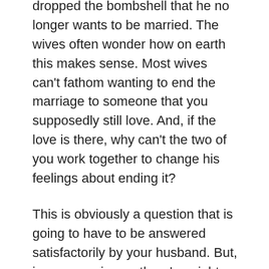dropped the bombshell that he no longer wants to be married. The wives often wonder how on earth this makes sense. Most wives can't fathom wanting to end the marriage to someone that you supposedly still love. And, if the love is there, why can't the two of you work together to change his feelings about ending it?
This is obviously a question that is going to have to be answered satisfactorily by your husband. But, in my experience, there's a right way and a wrong way to handle this awful bit of news. Many of us allow the shock and pain to contribute to us responding with knee jerk reactions that only make things worse and only reinforce the negative perceptions that are likely very much contributing to the husband's wanting out.
So, in the following article, I will try to provide some